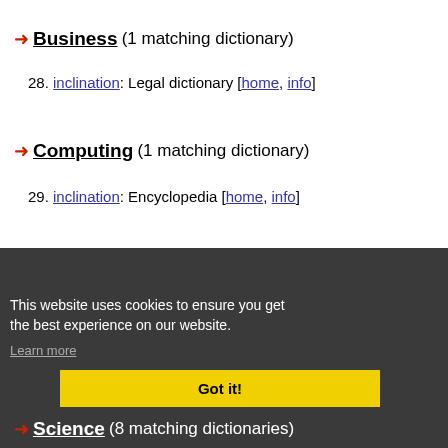Business (1 matching dictionary)
28. inclination: Legal dictionary [home, info]
Computing (1 matching dictionary)
29. inclination: Encyclopedia [home, info]
Medicine (3 matching dictionaries)
30. Inclination: Orthodontic Terms [home, info]
31. inclination: online medical dictionary [home, info]
32. inclination: Medical dictionary [home, info]
This website uses cookies to ensure you get the best experience on our website.
Learn more
Got it!
Science (8 matching dictionaries)